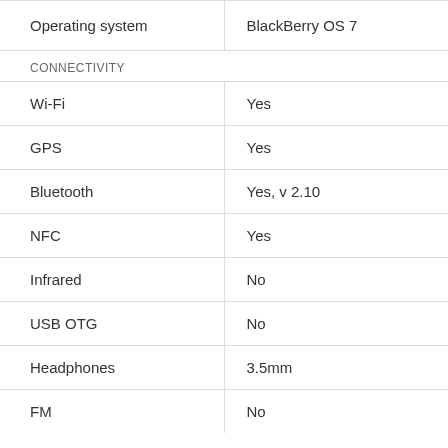| Feature | Value |
| --- | --- |
| Operating system | BlackBerry OS 7 |
| CONNECTIVITY |  |
| Wi-Fi | Yes |
| GPS | Yes |
| Bluetooth | Yes, v 2.10 |
| NFC | Yes |
| Infrared | No |
| USB OTG | No |
| Headphones | 3.5mm |
| FM | No |